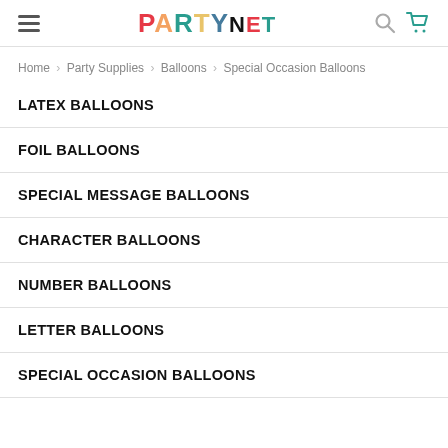PARTYNET
Home > Party Supplies > Balloons > Special Occasion Balloons
LATEX BALLOONS
FOIL BALLOONS
SPECIAL MESSAGE BALLOONS
CHARACTER BALLOONS
NUMBER BALLOONS
LETTER BALLOONS
SPECIAL OCCASION BALLOONS